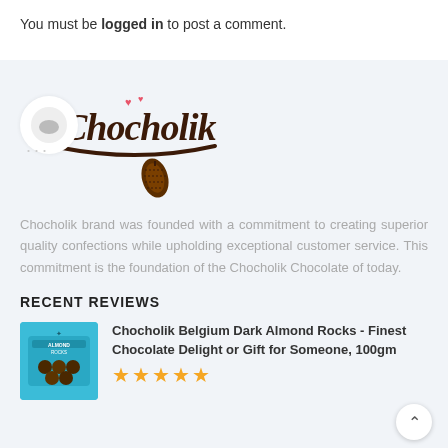You must be logged in to post a comment.
[Figure (logo): Chocholik brand logo with cursive text and cocoa pod illustration]
Chocholik brand was founded with a commitment to creating superior quality confections while upholding exceptional customer service. This commitment is the foundation of the Chocholik Chocolate of today.
RECENT REVIEWS
Chocholik Belgium Dark Almond Rocks - Finest Chocolate Delight or Gift for Someone, 100gm
[Figure (photo): Product image of Chocholik Belgium Dark Almond Rocks in teal/blue packaging]